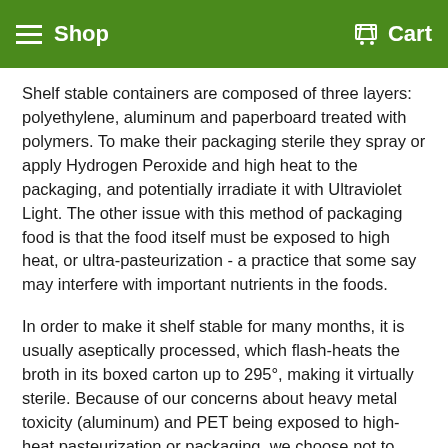Shop   Cart
Shelf stable containers are composed of three layers: polyethylene, aluminum and paperboard treated with polymers. To make their packaging sterile they spray or apply Hydrogen Peroxide and high heat to the packaging, and potentially irradiate it with Ultraviolet Light. The other issue with this method of packaging food is that the food itself must be exposed to high heat, or ultra-pasteurization - a practice that some say may interfere with important nutrients in the foods.
In order to make it shelf stable for many months, it is usually aseptically processed, which flash-heats the broth in its boxed carton up to 295°, making it virtually sterile. Because of our concerns about heavy metal toxicity (aluminum) and PET being exposed to high-heat pasteurization or packaging, we choose not to make our broth shelf-stable.
We believe that animal products should be kept refrigerated or frozen. Just as you wouldn't find chicken feet, or chicken breast, or beef ribs on a shelf (unless they are overly processed, pickled or cured), you shouldn't find bone broth on a shelf either. We add absolutely zero stabilizers, preservatives, flavorings to ensure the shelf